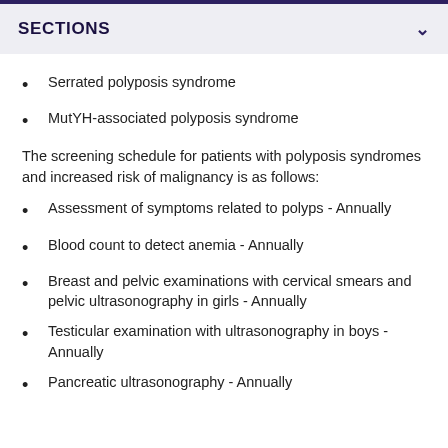SECTIONS
Serrated polyposis syndrome
MutYH-associated polyposis syndrome
The screening schedule for patients with polyposis syndromes and increased risk of malignancy is as follows:
Assessment of symptoms related to polyps - Annually
Blood count to detect anemia - Annually
Breast and pelvic examinations with cervical smears and pelvic ultrasonography in girls - Annually
Testicular examination with ultrasonography in boys - Annually
Pancreatic ultrasonography - Annually